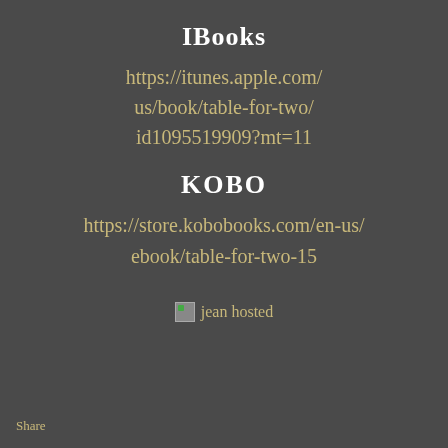IBooks
https://itunes.apple.com/us/book/table-for-two/id1095519909?mt=11
KOBO
https://store.kobobooks.com/en-us/ebook/table-for-two-15
[Figure (photo): jean hosted image placeholder]
Share